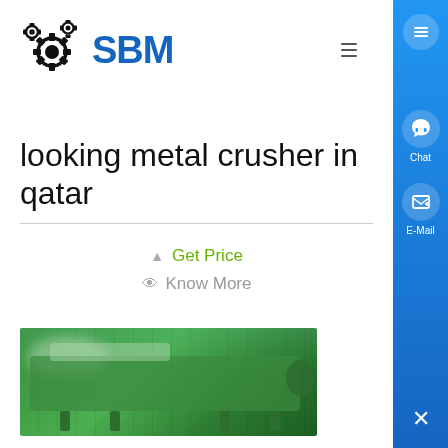[Figure (logo): SBM machinery logo with gear icons and blue bold text 'SBM']
looking metal crusher in qatar
Get Price
Know More
[Figure (photo): Green industrial metal crusher/screening machine outdoors]
Gold Detectors For Sale Buy The Gold Metal Detector 2021 ,
Gold Master Company is an Exclusive Agent For